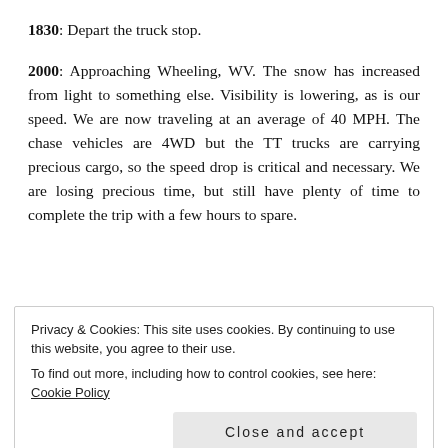1830: Depart the truck stop.
2000: Approaching Wheeling, WV. The snow has increased from light to something else. Visibility is lowering, as is our speed. We are now traveling at an average of 40 MPH. The chase vehicles are 4WD but the TT trucks are carrying precious cargo, so the speed drop is critical and necessary. We are losing precious time, but still have plenty of time to complete the trip with a few hours to spare.
Privacy & Cookies: This site uses cookies. By continuing to use this website, you agree to their use.
To find out more, including how to control cookies, see here: Cookie Policy
Close and accept
Truck 1 informs the convoy that there is a truck stop not